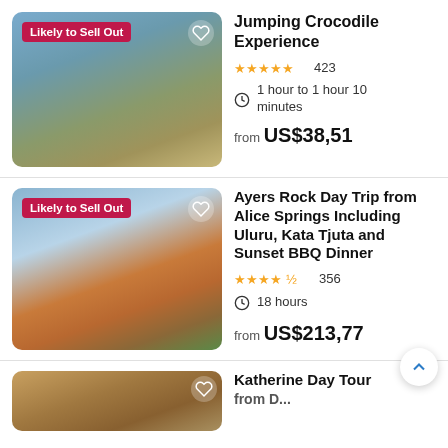[Figure (photo): Jumping crocodile leaping on a river cruise boat tour, with badge 'Likely to Sell Out']
Jumping Crocodile Experience
★★★★★ 423
1 hour to 1 hour 10 minutes
from US$38,51
[Figure (photo): Group of tourists standing in front of Uluru (Ayers Rock) with red rock formation in background, badge 'Likely to Sell Out']
Ayers Rock Day Trip from Alice Springs Including Uluru, Kata Tjuta and Sunset BBQ Dinner
★★★★½ 356
18 hours
from US$213,77
[Figure (photo): Partial view of Katherine Day Tour listing image showing rocky gorge landscape]
Katherine Day Tour from...